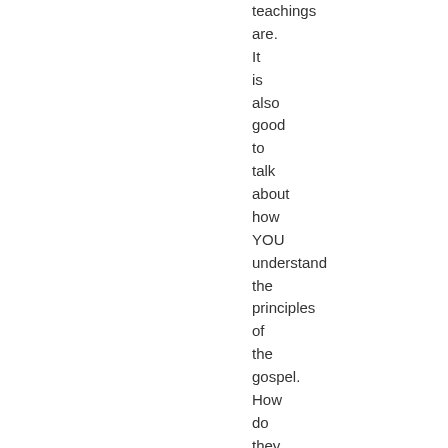teachings are. It is also good to talk about how YOU understand the principles of the gospel. How do they effect your life and the life of